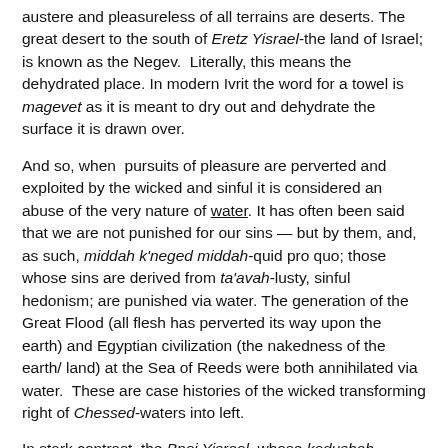austere and pleasureless of all terrains are deserts. The great desert to the south of Eretz Yisrael-the land of Israel; is known as the Negev. Literally, this means the dehydrated place. In modern Ivrit the word for a towel is magevet as it is meant to dry out and dehydrate the surface it is drawn over.
And so, when pursuits of pleasure are perverted and exploited by the wicked and sinful it is considered an abuse of the very nature of water. It has often been said that we are not punished for our sins — but by them, and, as such, middah k'neged middah-quid pro quo; those whose sins are derived from ta'avah-lusty, sinful hedonism; are punished via water. The generation of the Great Flood (all flesh has perverted its way upon the earth) and Egyptian civilization (the nakedness of the earth/ land) at the Sea of Reeds were both annihilated via water. These are case histories of the wicked transforming right of Chessed-waters into left.
In stark contrast, the Bnei Yisrael, whose kedushah-holiness; derives in great part from their chaste moderation in the pursuit of pleasure, merited having the Sea of Reeds "tear" i.e. part to let them past. This hearkens back to the Genesis narrative when Gevurah cleaved the waters for the first time as HaShem decreed: "there shall be a firmament (rakoa) in...